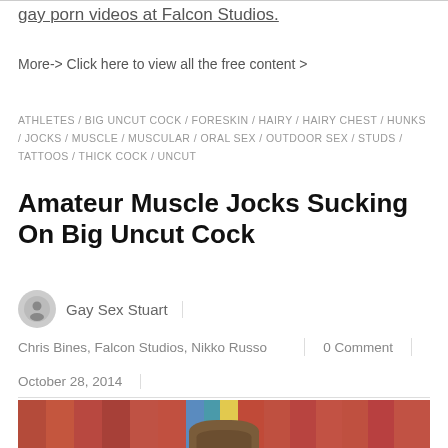gay porn videos at Falcon Studios.
More-> Click here to view all the free content >
ATHLETES / BIG UNCUT COCK / FORESKIN / HAIRY / HAIRY CHEST / HUNKS / JOCKS / MUSCLE / MUSCULAR / ORAL SEX / OUTDOOR SEX / STUDS / TATTOOS / THICK COCK / UNCUT
Amateur Muscle Jocks Sucking On Big Uncut Cock
Gay Sex Stuart
Chris Bines, Falcon Studios, Nikko Russo
0 Comment
October 28, 2014
[Figure (photo): Photo of a person outdoors with colored bleacher seats in the background]